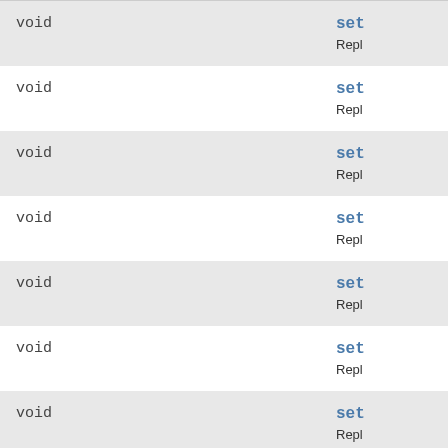| Type | Method/Description |
| --- | --- |
| void | set
Repl |
| void | set
Repl |
| void | set
Repl |
| void | set
Repl |
| void | set
Repl |
| void | set
Repl |
| void | set
Repl |
| void | set
Repl |
| void | set
Repl |